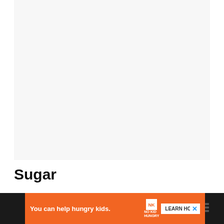[Figure (other): Large blank/white image placeholder area]
Sugar
Veggie Straws include various types of sugar, including sugar and dextrose. Although
[Figure (infographic): Advertisement bar: orange background with 'You can help hungry kids.' text, No Kid Hungry logo, LEARN HOW button, and close X button on dark background]